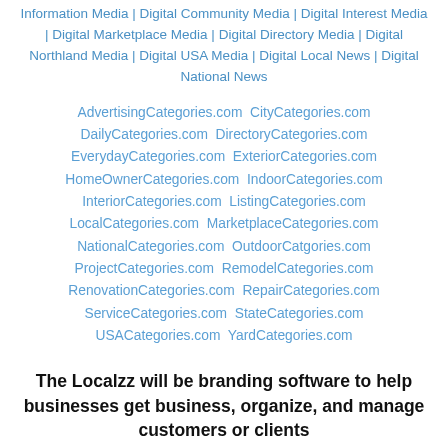Information Media | Digital Community Media | Digital Interest Media | Digital Marketplace Media | Digital Directory Media | Digital Northland Media | Digital USA Media | Digital Local News | Digital National News
AdvertisingCategories.com  CityCategories.com  DailyCategories.com  DirectoryCategories.com  EverydayCategories.com  ExteriorCategories.com  HomeOwnerCategories.com  IndoorCategories.com  InteriorCategories.com  ListingCategories.com  LocalCategories.com  MarketplaceCategories.com  NationalCategories.com  OutdoorCatgories.com  ProjectCategories.com  RemodelCategories.com  RenovationCategories.com  RepairCategories.com  ServiceCategories.com  StateCategories.com  USACategories.com  YardCategories.com
The Localzz will be branding software to help businesses get business, organize, and manage customers or clients